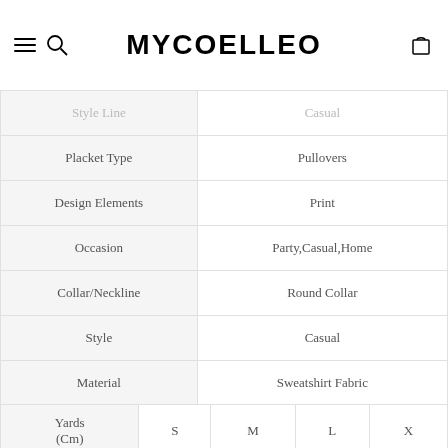MYCOELLEO
| Attribute | Value |
| --- | --- |
| Style Line | Casual |
| Placket Type | Pullovers |
| Design Elements | Print |
| Occasion | Party,Casual,Home |
| Collar/Neckline | Round Collar |
| Style | Casual |
| Material | Sweatshirt Fabric |
| Season | Winter,Fall/Autumn |
| Yards (Cm) | S | M | L | X |
| --- | --- | --- | --- | --- |